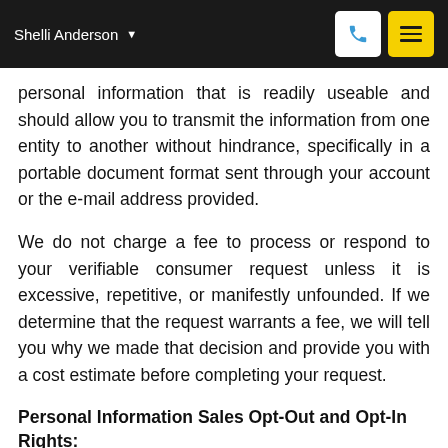Shelli Anderson
personal information that is readily useable and should allow you to transmit the information from one entity to another without hindrance, specifically in a portable document format sent through your account or the e-mail address provided.
We do not charge a fee to process or respond to your verifiable consumer request unless it is excessive, repetitive, or manifestly unfounded. If we determine that the request warrants a fee, we will tell you why we made that decision and provide you with a cost estimate before completing your request.
Personal Information Sales Opt-Out and Opt-In Rights:
We do not sell your personal information. If at any time we decide to sell your personal information, we will provide notice beforehand, pursuant to the CCPA, and provide